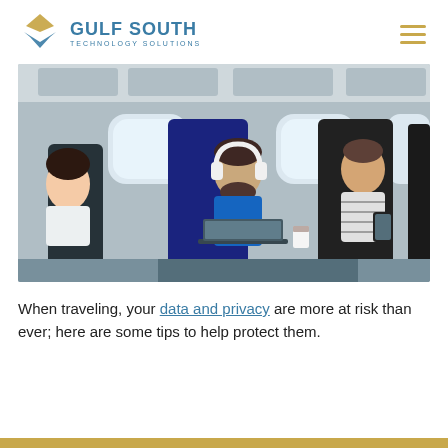Gulf South Technology Solutions
[Figure (photo): Passengers sitting in airplane seats; center passenger is a bearded man wearing white headphones, working on a laptop, with a coffee cup nearby; to his right is another passenger looking out the window; to his left is a woman with dark hair.]
When traveling, your data and privacy are more at risk than ever; here are some tips to help protect them.